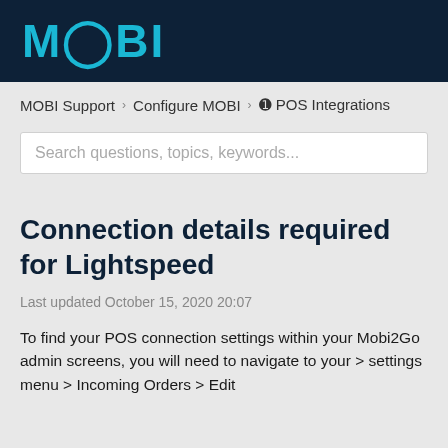MOBI
MOBI Support › Configure MOBI › ❶ POS Integrations
Search questions, topics, keywords...
Connection details required for Lightspeed
Last updated October 15, 2020 20:07
To find your POS connection settings within your Mobi2Go admin screens, you will need to navigate to your > settings menu > Incoming Orders > Edit